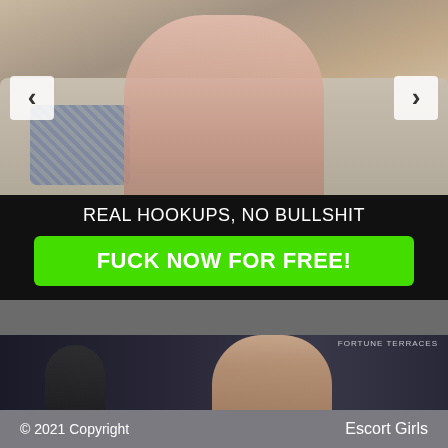[Figure (photo): Top portion of an adult content advertisement showing a person on a couch with navigation arrows on left and right sides]
REAL HOOKUPS, NO BULLSHIT
FUCK NOW FOR FREE!
[Figure (photo): Bottom portion showing a woman with dark hair in an outdoor/night setting with another person visible in background and signage]
© 2021 Copyright    Escort Girls